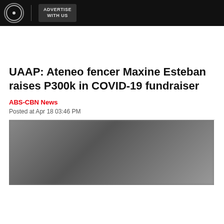ABS-CBN News | ADVERTISE WITH US
UAAP: Ateneo fencer Maxine Esteban raises P300k in COVID-19 fundraiser
ABS-CBN News
Posted at Apr 18 03:46 PM
[Figure (photo): Blurred photo of a person, partially obscured by cookie consent overlay]
Welcome, Kapamilya! We use cookies to improve your browsing experience. Continuing to use this site means you agree to our use of cookies. Tell me more! I AGREE!